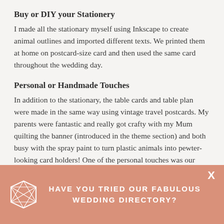Buy or DIY your Stationery
I made all the stationary myself using Inkscape to create animal outlines and imported different texts. We printed them at home on postcard-size card and then used the same card throughout the wedding day.
Personal or Handmade Touches
In addition to the stationary, the table cards and table plan were made in the same way using vintage travel postcards. My parents were fantastic and really got crafty with my Mum quilting the banner (introduced in the theme section) and both busy with the spray paint to turn plastic animals into pewter-looking card holders! One of the personal touches was our ‘icon’ of a bear and a monkey- beginning with the save the date cards these characters were present everywhere- the bear is
HAVE YOU TRIED OUR FABULOUS WEDDING DIRECTORY?